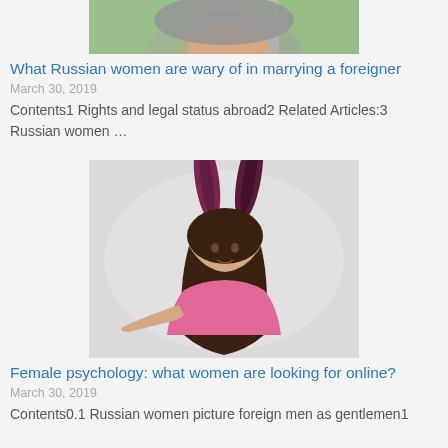[Figure (photo): Cropped photo of a pregnant woman in a grey top, outdoors with green background, only the torso visible]
What Russian women are wary of in marrying a foreigner
March 30, 2019
Contents1 Rights and legal status abroad2 Related Articles:3 Russian women …
[Figure (photo): Young woman with long dark wavy hair wearing bunny ears and a pink strapless top, posing against a light grey background with one hand outstretched]
Female psychology: what women are looking for online?
March 30, 2019
Contents0.1 Russian women picture foreign men as gentlemen1